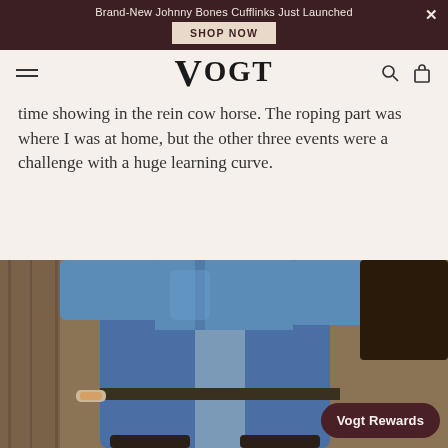Brand-New Johnny Bones Cufflinks Just Launched  SHOP NOW
VOGT
time showing in the rein cow horse. The roping part was where I was at home, but the other three events were a challenge with a huge learning curve.
[Figure (photo): Photo of a person in blue jeans and a blue long-sleeve shirt, leaning forward, with a wooden background visible.]